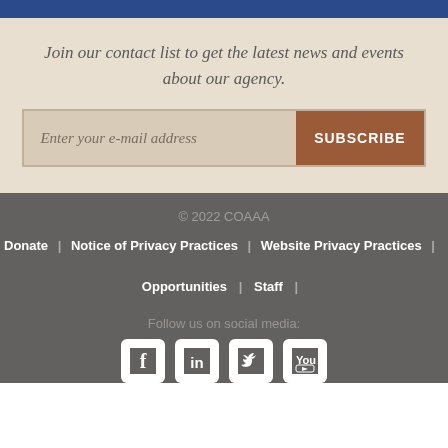Join our contact list to get the latest news and events about our agency.
Enter your e-mail address   SUBSCRIBE
© 2022 COAAA
Donate | Notice of Privacy Practices | Website Privacy Practices |
Opportunities | Staff |
Follow us on social media:
[Figure (infographic): Social media icons: Facebook, LinkedIn, Twitter, YouTube]